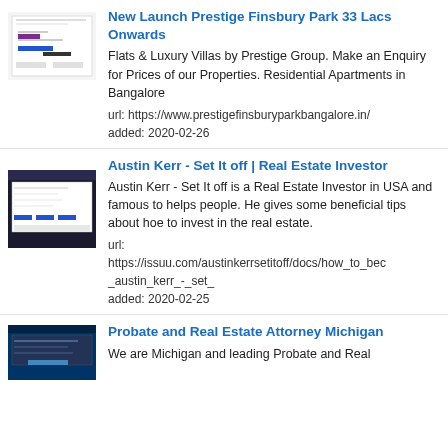[Figure (screenshot): Thumbnail screenshot of Prestige Finsbury Park website]
New Launch Prestige Finsbury Park 33 Lacs Onwards
Flats & Luxury Villas by Prestige Group. Make an Enquiry for Prices of our Properties. Residential Apartments in Bangalore
url: https://www.prestigefinsburyparkbangalore.in/
added: 2020-02-26
[Figure (screenshot): Thumbnail screenshot of Austin Kerr Set It off page]
Austin Kerr - Set It off | Real Estate Investor
Austin Kerr - Set It off is a Real Estate Investor in USA and famous to helps people. He gives some beneficial tips about hoe to invest in the real estate.
url: https://issuu.com/austinkerrsetitoff/docs/how_to_bec_austin_kerr_-_set_
added: 2020-02-25
[Figure (screenshot): Thumbnail screenshot of Probate and Real Estate Attorney Michigan page]
Probate and Real Estate Attorney Michigan
We are Michigan and leading Probate and Real